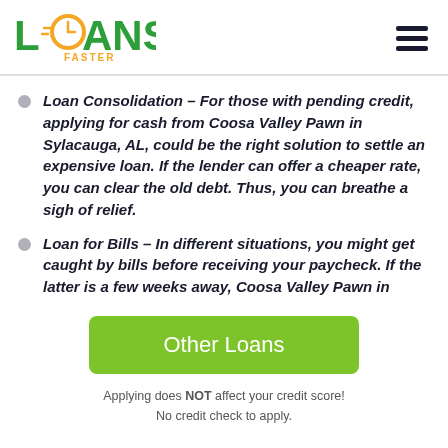LOANS FASTER
Loan Consolidation – For those with pending credit, applying for cash from Coosa Valley Pawn in Sylacauga, AL, could be the right solution to settle an expensive loan. If the lender can offer a cheaper rate, you can clear the old debt. Thus, you can breathe a sigh of relief.
Loan for Bills – In different situations, you might get caught by bills before receiving your paycheck. If the latter is a few weeks away, Coosa Valley Pawn in
Other Loans
Applying does NOT affect your credit score! No credit check to apply.